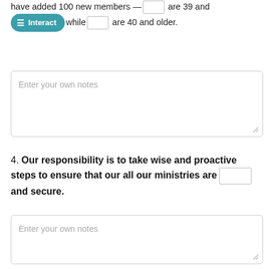have added 100 new members — ___ are 39 and [Interact] while ___ are 40 and older.
Enter your own notes
4. Our responsibility is to take wise and proactive steps to ensure that our all our ministries are ___ and secure.
Enter your own notes